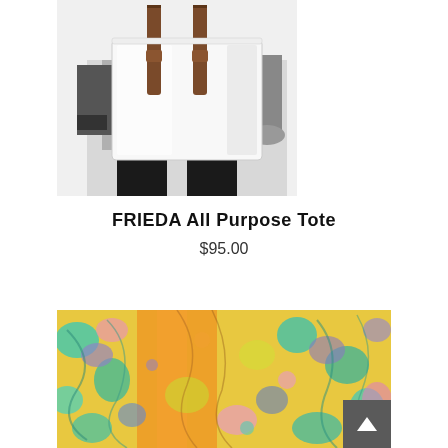[Figure (photo): Black and white photo of a person (visible torso and arms) holding or carrying a large white canvas/fabric tote bag with brown/dark leather straps]
FRIEDA All Purpose Tote
$95.00
[Figure (photo): Colorful abstract floral/botanical print fabric or artwork featuring orange, teal, purple, yellow, pink, and blue colors in a decorative pattern]